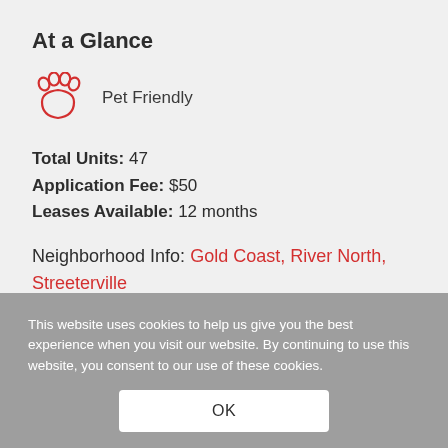At a Glance
Pet Friendly
Total Units: 47
Application Fee: $50
Leases Available: 12 months
Neighborhood Info: Gold Coast, River North, Streeterville
This website uses cookies to help us give you the best experience when you visit our website. By continuing to use this website, you consent to our use of these cookies.
OK